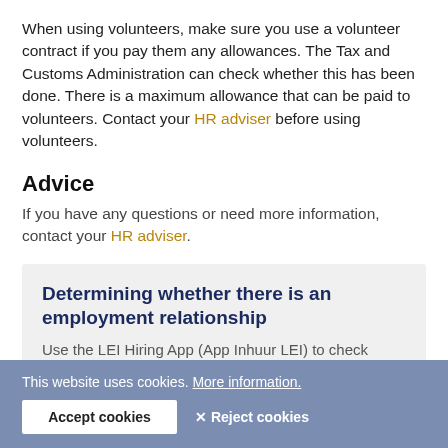When using volunteers, make sure you use a volunteer contract if you pay them any allowances. The Tax and Customs Administration can check whether this has been done. There is a maximum allowance that can be paid to volunteers. Contact your HR adviser before using volunteers.
Advice
If you have any questions or need more information, contact your HR adviser.
[Figure (infographic): Info box with dark blue header 'Determining whether there is an employment relationship' and body text 'Use the LEI Hiring App (App Inhuur LEI) to check whether your hiring meets the legal requirements.' with a partially visible button labeled 'TO LEI HIRING APP']
This website uses cookies. More information. [Accept cookies] [✕ Reject cookies]